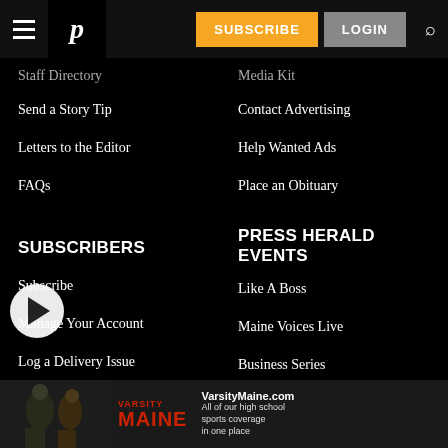Portland Press Herald navigation bar with SUBSCRIBE and LOGIN buttons
Staff Directory
Media Kit
Send a Story Tip
Contact Advertising
Letters to the Editor
Help Wanted Ads
FAQs
Place an Obituary
SUBSCRIBERS
PRESS HERALD EVENTS
Subscribe
Like A Boss
Manage Your Account
Maine Voices Live
Log a Delivery Issue
Business Series
Subscriber Benefits
Newsroom Live
[Figure (screenshot): VarsityMaine.com advertisement banner at bottom of page: 'All of our high school sports coverage in one place']
[Figure (other): Play button overlay circle with triangle arrow]